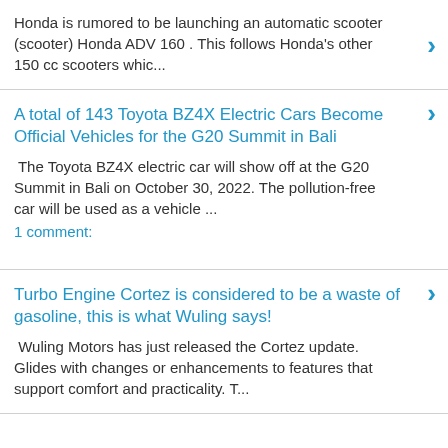Honda is rumored to be launching an automatic scooter (scooter) Honda ADV 160 . This follows Honda's other 150 cc scooters whic...
A total of 143 Toyota BZ4X Electric Cars Become Official Vehicles for the G20 Summit in Bali
The Toyota BZ4X electric car will show off at the G20 Summit in Bali on October 30, 2022. The pollution-free car will be used as a vehicle ...
1 comment:
Turbo Engine Cortez is considered to be a waste of gasoline, this is what Wuling says!
Wuling Motors has just released the Cortez update. Glides with changes or enhancements to features that support comfort and practicality. T...